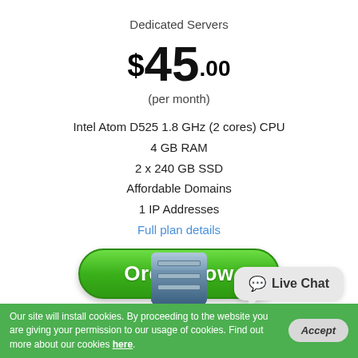Dedicated Servers
$45.00
(per month)
Intel Atom D525 1.8 GHz (2 cores) CPU
4 GB RAM
2 x 240 GB SSD
Affordable Domains
1 IP Addresses
Full plan details
[Figure (illustration): Green rounded 'Order Now' button]
[Figure (illustration): Server icon (tower server graphic)]
[Figure (illustration): Live Chat speech bubble button]
Our site will install cookies. By proceeding to the website you are giving your permission to our usage of cookies. Find out more about our cookies here.